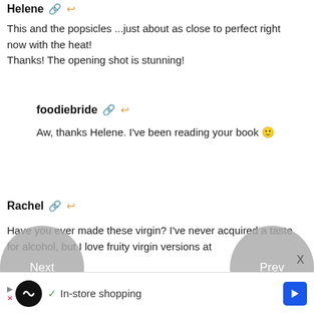Helene 🔗 ↩
This and the popsicles ...just about as close to perfect right now with the heat!
Thanks! The opening shot is stunning!
foodiebride 🔗 ↩
Aw, thanks Helene. I've been reading your book 🙂
Rachel 🔗 ↩
Have you ever made these virgin? I've never acquired a taste for alcohol, but I love fruity virgin versions at
[Figure (other): Navigation buttons: Next (left circle) and Prev (right circle), gray semi-transparent circles]
[Figure (other): Advertisement bar: In-store shopping with logo and arrow icon]